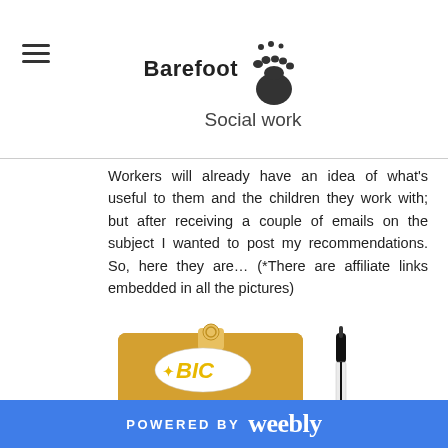Barefoot Social work
Workers will already have an idea of what's useful to them and the children they work with; but after receiving a couple of emails on the subject I wanted to post my recommendations. So, here they are… (*There are affiliate links embedded in all the pictures)
[Figure (photo): BIC Cristal Original black pens pack and a single BIC pen standing upright]
POWERED BY weebly